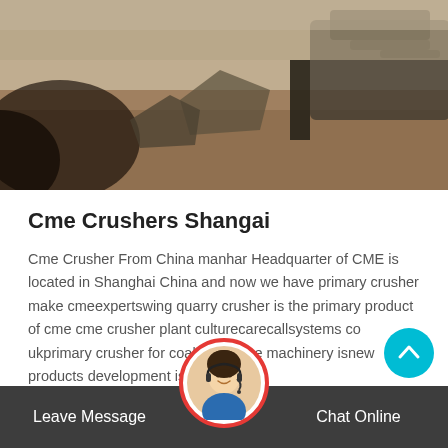[Figure (photo): Outdoor photo of quarry/mining site with machinery and rock/gravel in background]
Cme Crushers Shangai
Cme Crusher From China manhar Headquarter of CME is located in Shanghai China and now we have primary crusher make cmeexpertswing quarry crusher is the primary product of cme cme crusher plant culturecarecallsystems co ukprimary crusher for coal mine cme machinery isnew products development is a
Read more
[Figure (photo): Customer service chat avatar - woman with headset smiling]
Leave Message    Chat Online